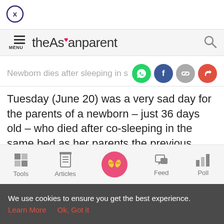[Figure (other): Close button circle with X symbol]
theAsianparent — MENU and search icon header bar
Newborn dies after sleeping in same
Tuesday (June 20) was a very sad day for the parents of a newborn – just 36 days old – who died after co-sleeping in the same bed as her parents the previous night.
Tools | Articles | (home) | Feed | Poll
We use cookies to ensure you get the best experience. Learn More  Ok, Got it